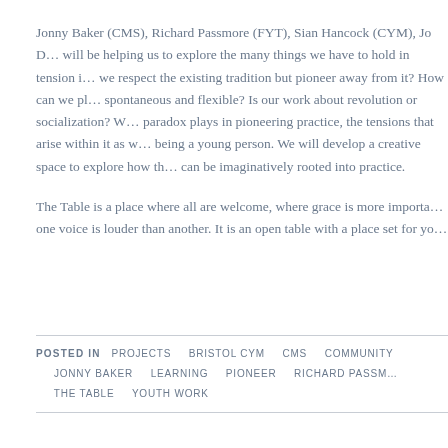Jonny Baker (CMS), Richard Passmore (FYT), Sian Hancock (CYM), Jo D… will be helping us to explore the many things we have to hold in tension i… we respect the existing tradition but pioneer away from it? How can we pl… spontaneous and flexible? Is our work about revolution or socialization? W… paradox plays in pioneering practice, the tensions that arise within it as w… being a young person. We will develop a creative space to explore how th… can be imaginatively rooted into practice.
The Table is a place where all are welcome, where grace is more importa… one voice is louder than another. It is an open table with a place set for yo…
POSTED IN PROJECTS   BRISTOL CYM   CMS   COMMUNITY   JONNY BAKER   LEARNING   PIONEER   RICHARD PASSM…   THE TABLE   YOUTH WORK